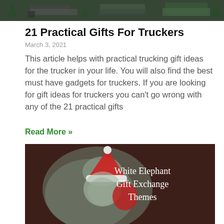[Figure (photo): Top banner image showing trucks/trucking scene with dark background]
21 Practical Gifts For Truckers
March 3, 2021
This article helps with practical trucking gift ideas for the trucker in your life. You will also find the best must have gadgets for truckers. If you are looking for gift ideas for truckers you can't go wrong with any of the 21 practical gifts
Read More »
[Figure (illustration): Illustrated image with dark brown background showing a Santa Claus character and text 'White Elephant Gift Exchange Themes' in white serif font. Bottom portion is partially cut off/faded.]